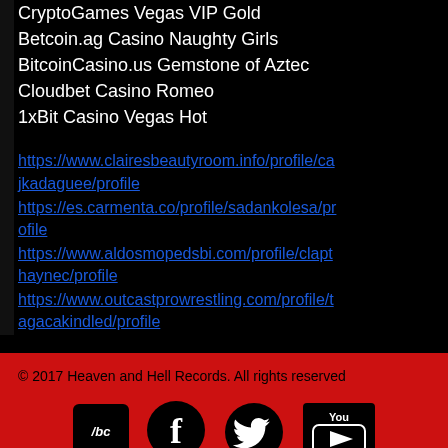CryptoGames Vegas VIP Gold
Betcoin.ag Casino Naughty Girls
BitcoinCasino.us Gemstone of Aztec
Cloudbet Casino Romeo
1xBit Casino Vegas Hot
https://www.clairesbeautyroom.info/profile/cajkadaguee/profile
https://es.carmenta.co/profile/sadankolesa/profile
https://www.aldosmopedsbi.com/profile/clapthaynec/profile
https://www.outcastprowrestling.com/profile/tagacakindled/profile
© 2017 Heaven and Hell Records. All rights reserved